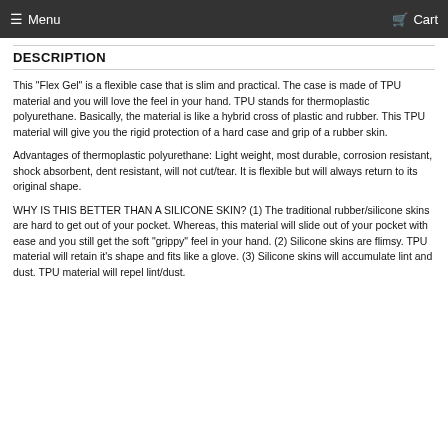Menu  Cart
DESCRIPTION
This "Flex Gel" is a flexible case that is slim and practical. The case is made of TPU material and you will love the feel in your hand. TPU stands for thermoplastic polyurethane. Basically, the material is like a hybrid cross of plastic and rubber. This TPU material will give you the rigid protection of a hard case and grip of a rubber skin.
Advantages of thermoplastic polyurethane: Light weight, most durable, corrosion resistant, shock absorbent, dent resistant, will not cut/tear. It is flexible but will always return to its original shape.
WHY IS THIS BETTER THAN A SILICONE SKIN? (1) The traditional rubber/silicone skins are hard to get out of your pocket. Whereas, this material will slide out of your pocket with ease and you still get the soft "grippy" feel in your hand. (2) Silicone skins are flimsy. TPU material will retain it's shape and fits like a glove. (3) Silicone skins will accumulate lint and dust. TPU material will repel lint/dust.